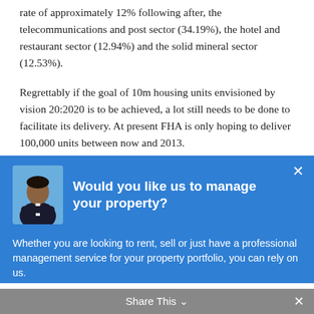rate of approximately 12% following after, the telecommunications and post sector (34.19%), the hotel and restaurant sector (12.94%) and the solid mineral sector (12.53%).
Regrettably if the goal of 10m housing units envisioned by vision 20:2020 is to be achieved, a lot still needs to be done to facilitate its delivery. At present FHA is only hoping to deliver 100,000 units between now and 2013.
[Figure (infographic): Modal popup overlay with blue background. Contains a person avatar photo on the left, bold white title text 'Would you like us to manage your property?', body text about renting/selling/property management, a white 'Get in touch' button, and a close X button in the top right corner.]
Share This ∨